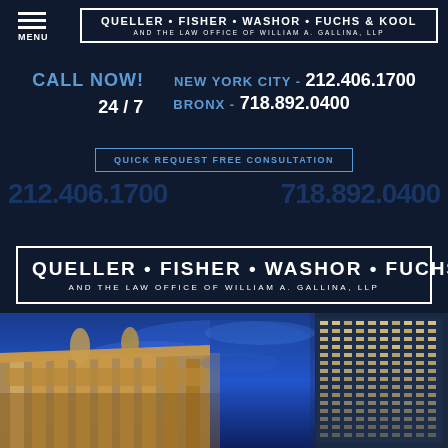MENU
QUELLER • FISHER • WASHOR • FUCHS & KOOL AND THE LAW OFFICE OF WILLIAM A. GALLINA, LLP
CALL NOW! NEW YORK CITY - 212.406.1700 24 / 7 BRONX - 718.892.0400
QUICK REQUEST FREE CONSULTATION
212.406.1700   718.892.0400
QUELLER • FISHER • WASHOR • FUCHS & KOOL AND THE LAW OFFICE OF WILLIAM A. GALLINA, LLP
[Figure (photo): Photo of New York City courthouse and skyscraper at night with dramatic blue sky]